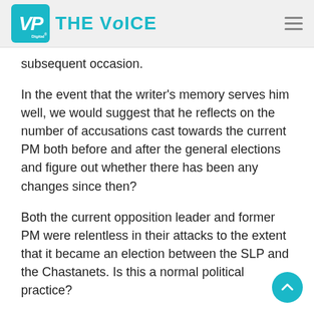VP Digital | THE VOICE
subsequent occasion.
In the event that the writer's memory serves him well, we would suggest that he reflects on the number of accusations cast towards the current PM both before and after the general elections and figure out whether there has been any changes since then?
Both the current opposition leader and former PM were relentless in their attacks to the extent that it became an election between the SLP and the Chastanets. Is this a normal political practice?